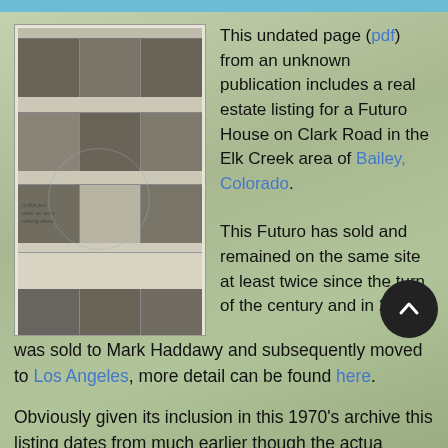[Figure (photo): Scanned newspaper page with grid of black and white photos and text columns, with handwritten annotations and a circle drawn on it]
This undated page (pdf) from an unknown publication includes a real estate listing for a Futuro House on Clark Road in the Elk Creek area of Bailey, Colorado.
This Futuro has sold and remained on the same site at least twice since the turn of the century and in 2009 it was sold to Mark Haddawy and subsequently moved to Los Angeles, more detail can be found here.
Obviously given its inclusion in this 1970's archive this listing dates from much earlier though the actual date is unknown as is whether the Futuro sold or not as a result of the listing. That said if it did sell it clearly remained on